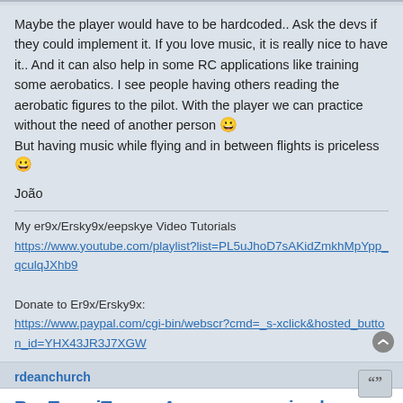Maybe the player would have to be hardcoded.. Ask the devs if they could implement it. If you love music, it is really nice to have it.. And it can also help in some RC applications like training some aerobatics. I see people having others reading the aerobatic figures to the pilot. With the player we can practice without the need of another person 😀 But having music while flying and in between flights is priceless 😀
João
My er9x/Ersky9x/eepskye Video Tutorials
https://www.youtube.com/playlist?list=PL5uJhoD7sAKidZmkhMpYpp_qculqJXhb9

Donate to Er9x/Ersky9x:
https://www.paypal.com/cgi-bin/webscr?cmd=_s-xclick&hosted_button_id=YHX43JR3J7XGW
rdeanchurch
Re: TaraniTunes: Awesome music player for Taranis
Fri Nov 03, 2017 6:12 pm
GII
I use a full SD card path in scripts with playFile() and it works fine.